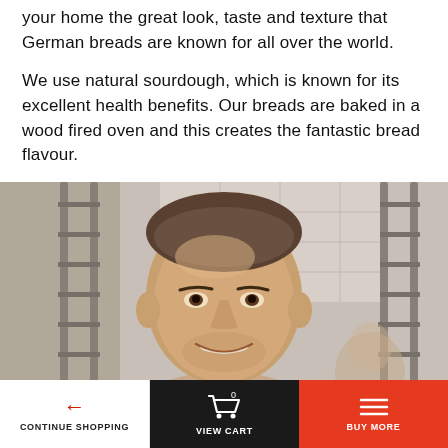your home the great look, taste and texture that German breads are known for all over the world.
We use natural sourdough, which is known for its excellent health benefits. Our breads are baked in a wood fired oven and this creates the fantastic bread flavour.
[Figure (photo): A smiling bald young man photographed in front of a wooden ladder/rack background, likely in a gym or bakery setting.]
CONTINUE SHOPPING | VIEW CART 0 | BUY MORE